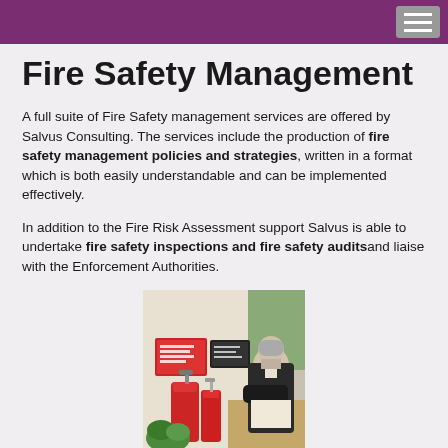Fire Safety Management
A full suite of Fire Safety management services are offered by Salvus Consulting. The services include the production of fire safety management policies and strategies, written in a format which is both easily understandable and can be implemented effectively.
In addition to the Fire Risk Assessment support Salvus is able to undertake fire safety inspections and fire safety audits and liaise with the Enforcement Authorities.
[Figure (photo): Person reviewing fire safety equipment including red fire extinguishers mounted on a wall with safety signs, inspecting or auditing fire safety compliance.]
As part of its ongoing assistance fire safety management can be